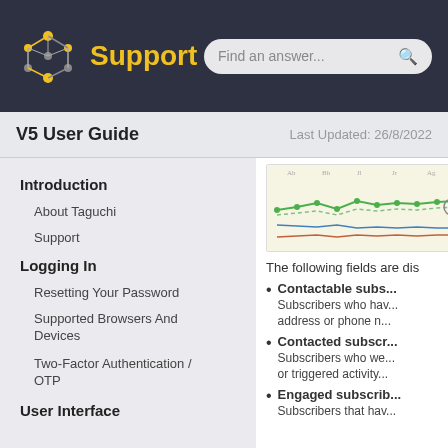Support — Find an answer...
V5 User Guide — Last Updated: 26/8/2022
Introduction
About Taguchi
Support
Logging In
Resetting Your Password
Supported Browsers And Devices
Two-Factor Authentication / OTP
User Interface
[Figure (screenshot): Line chart screenshot showing subscriber trends over time with green and red lines]
The following fields are di...
Contactable subs...
Subscribers who have... address or phone n...
Contacted subscr...
Subscribers who we... or triggered activity...
Engaged subscrib...
Subscribers that hav...